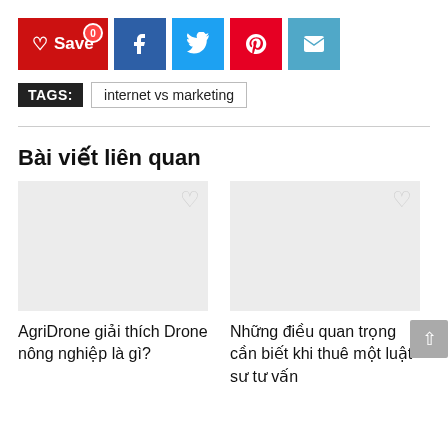[Figure (infographic): Social sharing buttons row: Save (red), Facebook (blue), Twitter (light blue), Pinterest (red), Email (teal)]
TAGS: internet vs marketing
Bài viết liên quan
[Figure (infographic): Two article cards: 1) AgriDrone giải thích Drone nông nghiệp là gì? 2) Những điều quan trọng cần biết khi thuê một luật sư tư vấn]
AgriDrone giải thích Drone nông nghiệp là gì?
Những điều quan trọng cần biết khi thuê một luật sư tư vấn